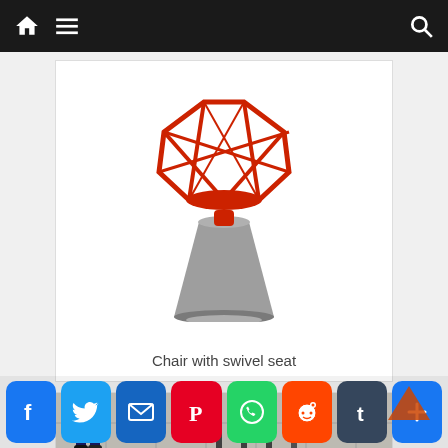Navigation bar with home, menu, and search icons
[Figure (photo): A modern designer chair with a red geometric lattice seat back and a conical grey upholstered base]
Chair with swivel seat
[Figure (photo): Street scene with people walking past vertical metal bars/railings on a tiled surface]
[Figure (other): Social sharing bar with Facebook, Twitter, Email, Pinterest, WhatsApp, Reddit, Tumblr, and Add buttons]